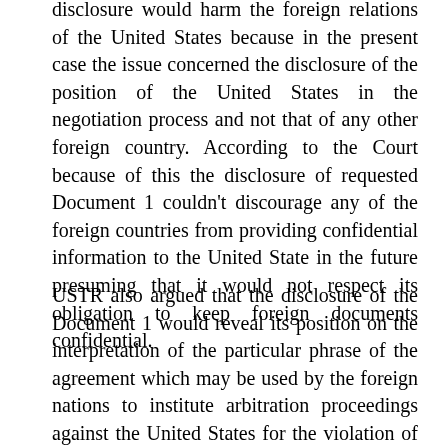disclosure would harm the foreign relations of the United States because in the present case the issue concerned the disclosure of the position of the United States in the negotiation process and not that of any other foreign country. According to the Court because of this the disclosure of requested Document 1 couldn't discourage any of the foreign countries from providing confidential information to the United State in the future presuming that it would not respect its obligation to keep foreign documents confidential.
USTR also argued that the disclosure of the Document 1 would reveal its position on the interpretation of the particular phrase of the agreement which may be used by the foreign nations to institute arbitration proceedings against the United States for the violation of the agreement. In